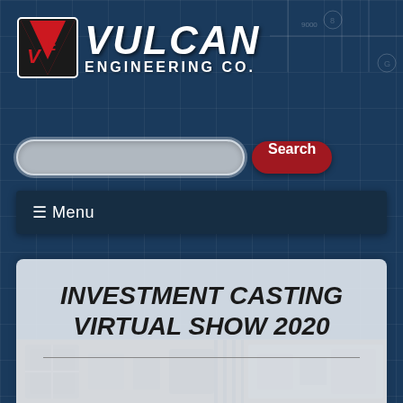[Figure (logo): Vulcan Engineering Co. logo with red VE icon and white italic VULCAN text above ENGINEERING CO.]
[Figure (screenshot): Search bar with gray input field and red Search button]
≡ Menu
INVESTMENT CASTING VIRTUAL SHOW 2020
[Figure (photo): Partial photo of industrial casting equipment at the bottom of the page]